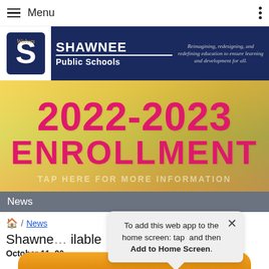Menu
[Figure (logo): Shawnee Public Schools logo with Wolves mascot S logo and banner text: SHAWNEE Public Schools, Reimagining, redesigning, and redefining education to ensure learning and development for all.]
[Figure (infographic): 2022-2023 ENROLLMENT banner image with pink bold text over colorful pencils background. Text overlay: TAP HERE FOR MORE INFORMATION]
News
Home / News
Shawne... ilable
October 11, 20...
To add this web app to the home screen: tap  and then Add to Home Screen.